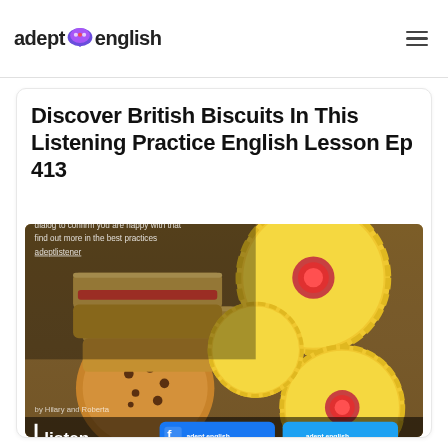adept english
Discover British Biscuits In This Listening Practice English Lesson Ep 413
[Figure (photo): Photo of assorted British biscuits including jammy dodgers, chocolate chip cookies, and custard creams on a wooden surface, with social media branding and Listen & Learn logo overlay. Cookie compliance notice text overlaid on image.]